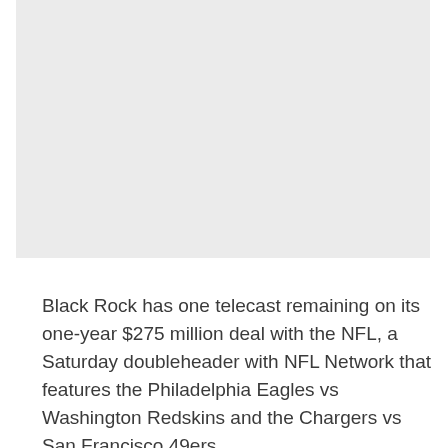[Figure (other): Gray advertisement placeholder box at top of page]
Black Rock has one telecast remaining on its one-year $275 million deal with the NFL, a Saturday doubleheader with NFL Network that features the Philadelphia Eagles vs Washington Redskins and the Chargers vs San Francisco 49ers.
[Figure (other): Gray advertisement placeholder box with 'Advertisement' label]